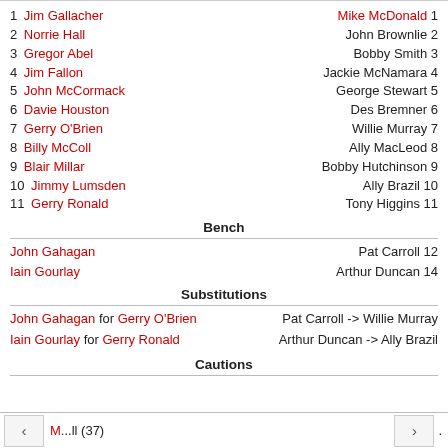1 Jim Gallacher | Mike McDonald 1
2 Norrie Hall | John Brownlie 2
3 Gregor Abel | Bobby Smith 3
4 Jim Fallon | Jackie McNamara 4
5 John McCormack | George Stewart 5
6 Davie Houston | Des Bremner 6
7 Gerry O'Brien | Willie Murray 7
8 Billy McColl | Ally MacLeod 8
9 Blair Millar | Bobby Hutchinson 9
10 Jimmy Lumsden | Ally Brazil 10
11 Gerry Ronald | Tony Higgins 11
Bench
John Gahagan | Pat Carroll 12
Iain Gourlay | Arthur Duncan 14
Substitutions
John Gahagan for Gerry O'Brien | Pat Carroll -> Willie Murray
Iain Gourlay for Gerry Ronald | Arthur Duncan -> Ally Brazil
Cautions
M...ll (37)